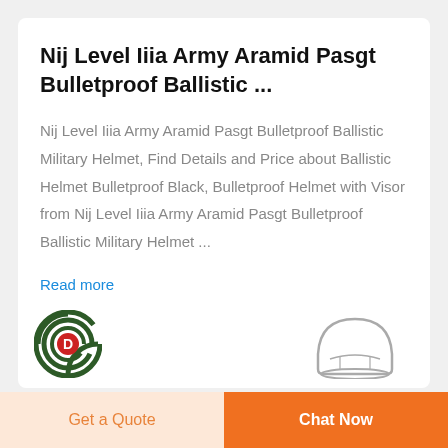Nij Level Iiia Army Aramid Pasgt Bulletproof Ballistic ...
Nij Level Iiia Army Aramid Pasgt Bulletproof Ballistic Military Helmet, Find Details and Price about Ballistic Helmet Bulletproof Black, Bulletproof Helmet with Visor from Nij Level Iiia Army Aramid Pasgt Bulletproof Ballistic Military Helmet ...
Read more
[Figure (logo): Circular logo with letter D in red on dark green concentric arcs background]
[Figure (illustration): Partial illustration of a helmet shape in gray outline]
Get a Quote
Chat Now